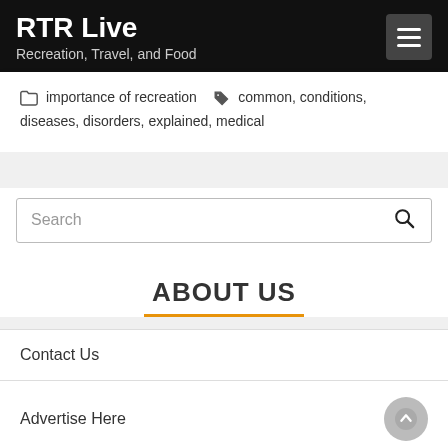RTR Live
Recreation, Travel, and Food
importance of recreation   common, conditions, diseases, disorders, explained, medical
Search
ABOUT US
Contact Us
Advertise Here
Disclosure Policy